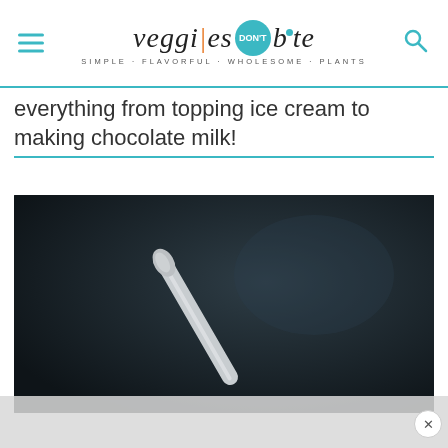veggies don't bite — SIMPLE · FLAVORFUL · WHOLESOME · PLANTS
everything from topping ice cream to making chocolate milk!
[Figure (photo): Dark background photo of a silver spoon being held up, with chocolate sauce dripping, with a glass of chocolate milk below]